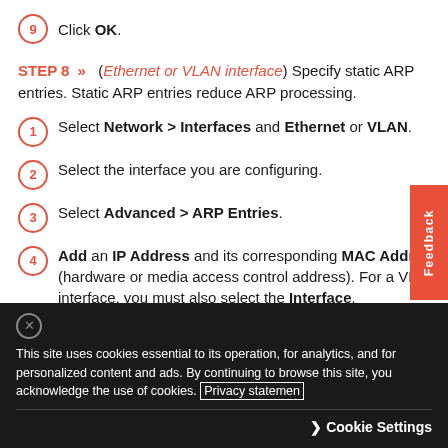9 Click OK.
STEP 8 » (Ethernet or VLAN interface) Specify static ARP entries. Static ARP entries reduce ARP processing.
1 Select Network > Interfaces and Ethernet or VLAN.
2 Select the interface you are configuring.
3 Select Advanced > ARP Entries.
4 Add an IP Address and its corresponding MAC Address (hardware or media access control address). For a VLAN interface, you must also select the Interface.
This site uses cookies essential to its operation, for analytics, and for personalized content and ads. By continuing to browse this site, you acknowledge the use of cookies. Privacy statement